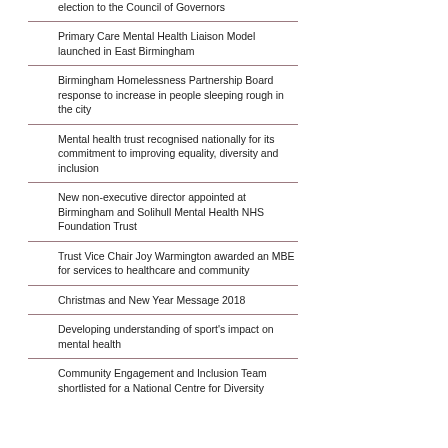election to the Council of Governors
Primary Care Mental Health Liaison Model launched in East Birmingham
Birmingham Homelessness Partnership Board response to increase in people sleeping rough in the city
Mental health trust recognised nationally for its commitment to improving equality, diversity and inclusion
New non-executive director appointed at Birmingham and Solihull Mental Health NHS Foundation Trust
Trust Vice Chair Joy Warmington awarded an MBE for services to healthcare and community
Christmas and New Year Message 2018
Developing understanding of sport's impact on mental health
Community Engagement and Inclusion Team shortlisted for a National Centre for Diversity (NCFD) award